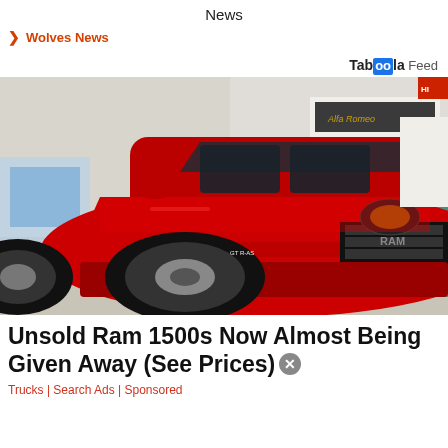News
Wolves News
Taboola Feed
[Figure (photo): Red Ram 1500 pickup truck on display at an auto show, viewed from the front-left quarter angle. Alfa Romeo signage visible in background.]
Unsold Ram 1500s Now Almost Being Given Away (See Prices)
Trucks | Search Ads | Sponsored